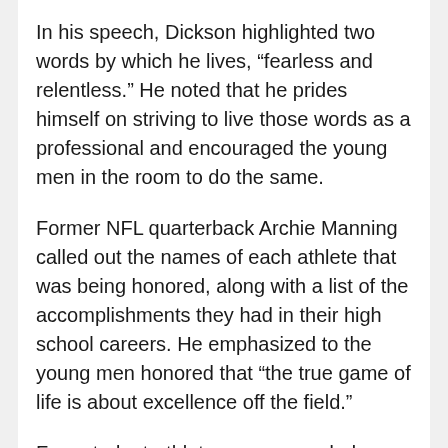In his speech, Dickson highlighted two words by which he lives, “fearless and relentless.” He noted that he prides himself on striving to live those words as a professional and encouraged the young men in the room to do the same.
Former NFL quarterback Archie Manning called out the names of each athlete that was being honored, along with a list of the accomplishments they had in their high school careers. He emphasized to the young men honored that “the true game of life is about excellence off the field.”
Four student-athletes were awarded scholarship money from the Sugar Bowl Committee for their exemplary work ethic. The quartet honored were Brandon McGowen from Isidore Newman, Joshua Bailey from